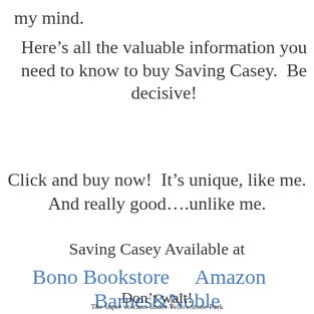my mind.
Here’s all the valuable information you need to know to buy Saving Casey.  Be decisive!
Click and buy now!  It’s unique, like me.  And really good….unlike me.
Saving Casey Available at
Bono Bookstore    Amazon   Barnes&Noble
Don’t wait!
The super volcano under Yellowstone Park could explode tomorrow.